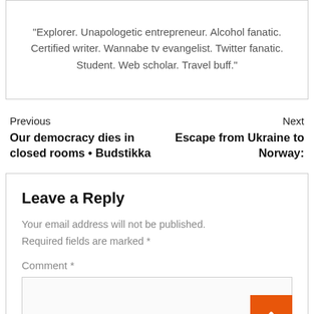"Explorer. Unapologetic entrepreneur. Alcohol fanatic. Certified writer. Wannabe tv evangelist. Twitter fanatic. Student. Web scholar. Travel buff."
Previous
Our democracy dies in closed rooms • Budstikka
Next
Escape from Ukraine to Norway:
Leave a Reply
Your email address will not be published.
Required fields are marked *
Comment *